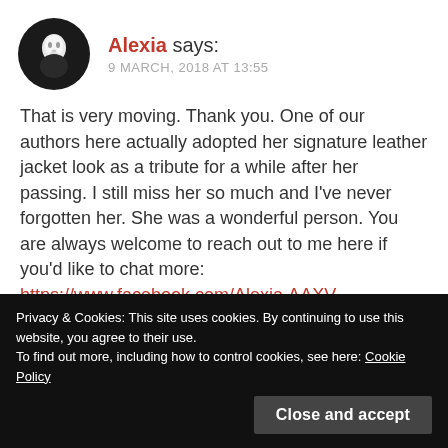[Figure (photo): Circular avatar image with dark background showing a white mask or face]
Alexia says:
9 MARCH, 2018 AT 13:55
That is very moving. Thank you. One of our authors here actually adopted her signature leather jacket look as a tribute for a while after her passing. I still miss her so much and I've never forgotten her. She was a wonderful person. You are always welcome to reach out to me here if you'd like to chat more:
https://www.facebook.com/Alexia.AAXV
alexiaaaxv@gmail.com
Privacy & Cookies: This site uses cookies. By continuing to use this website, you agree to their use.
To find out more, including how to control cookies, see here: Cookie Policy
Close and accept